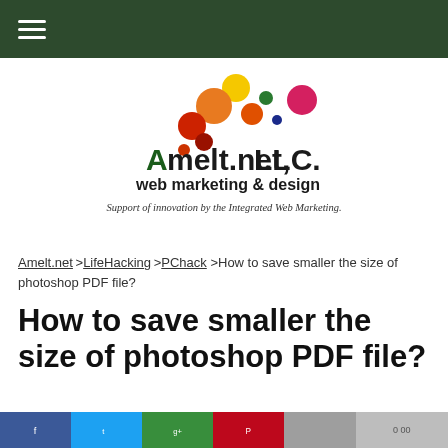Navigation menu header bar
[Figure (logo): Amelt.net LLC web marketing & design logo with colorful circles and text]
Support of innovation by the Integrated Web Marketing.
Amelt.net > LifeHacking > PChack > How to save smaller the size of photoshop PDF file?
How to save smaller the size of photoshop PDF file?